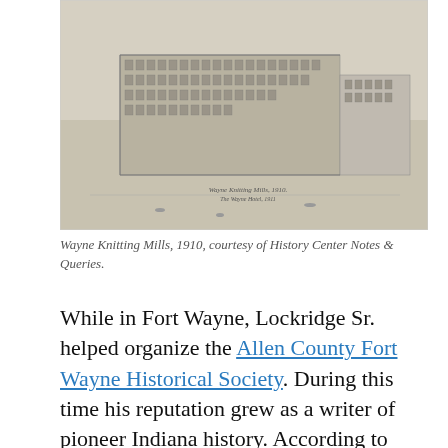[Figure (illustration): Historical engraving/illustration of Wayne Knitting Mills building, 1910, shown in bird's eye view perspective with large multi-story factory complex.]
Wayne Knitting Mills, 1910, courtesy of History Center Notes & Queries.
While in Fort Wayne, Lockridge Sr. helped organize the Allen County Fort Wayne Historical Society. During this time his reputation grew as a writer of pioneer Indiana history. According to Larry Lockridge, his grandfather, Ross Sr.," developed his own brand of 'Historic Site Recital,' combing public speaking, drama, and local history." Between 1935 and 1950, Lockridge Sr. served as a